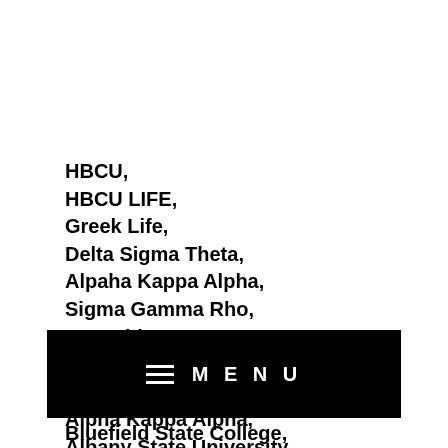HBCU,
HBCU LIFE,
Greek Life,
Delta Sigma Theta,
Alpaha Kappa Alpha,
Sigma Gamma Rho,
Zeta Phi Beta,
Omega Psi Phi,
Kappa Alpha PSI,
Alpha Kappa Alpha,
Albany State University,
Allen University,
American Baptist College,
[Figure (screenshot): Black navigation bar with hamburger menu icon and MENU text in white]
Bluefield State College,